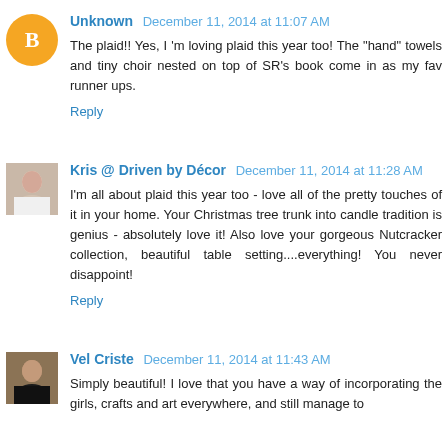Unknown  December 11, 2014 at 11:07 AM
The plaid!! Yes, I 'm loving plaid this year too! The "hand" towels and tiny choir nested on top of SR's book come in as my fav runner ups.
Reply
Kris @ Driven by Décor  December 11, 2014 at 11:28 AM
I'm all about plaid this year too - love all of the pretty touches of it in your home. Your Christmas tree trunk into candle tradition is genius - absolutely love it! Also love your gorgeous Nutcracker collection, beautiful table setting....everything! You never disappoint!
Reply
Vel Criste  December 11, 2014 at 11:43 AM
Simply beautiful! I love that you have a way of incorporating the girls, crafts and art everywhere, and still manage to